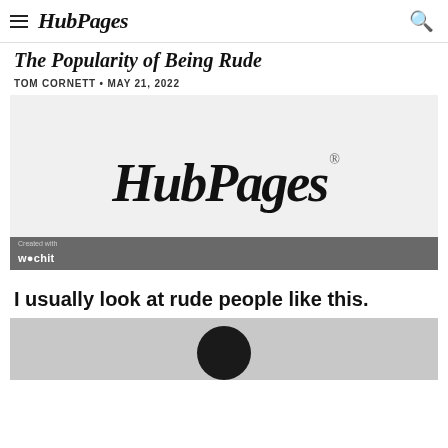HubPages
The Popularity of Being Rude
TOM CORNETT • MAY 21, 2022
[Figure (logo): HubPages logo (large script text with registered trademark symbol) on light gray background, with Wochit watermark bar at bottom]
I usually look at rude people like this.
[Figure (photo): Partial photo showing top of a person's head from below]